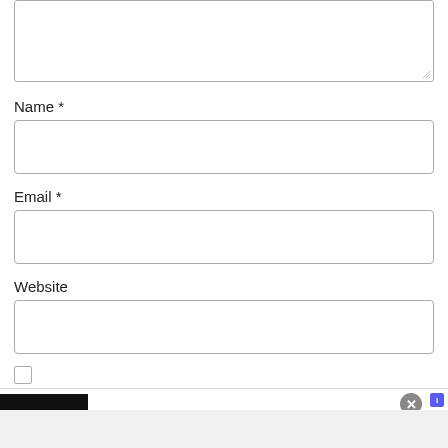[Figure (screenshot): Partial textarea (comment box) at top of page, with resize handle at bottom-right corner]
Name *
[Figure (screenshot): Empty input field for Name]
Email *
[Figure (screenshot): Empty input field for Email]
Website
[Figure (screenshot): Empty input field for Website]
[Figure (screenshot): Partial checkbox at bottom]
[Figure (screenshot): Advertisement banner: Frontgate Outdoor Furniture and Bedding, 25% off sitewide sale]